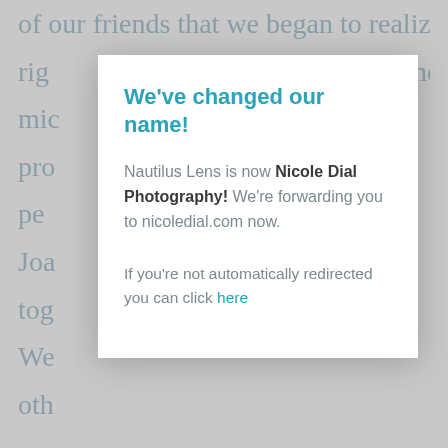of our friends that we began to realize how right the mid pro pe Joa tog t. We oth I w d tha alw g Pau best thing in the whole wide world. Like John
We've changed our name!
Nautilus Lens is now Nicole Dial Photography! We're forwarding you to nicoledial.com now.
If you're not automatically redirected you can click here